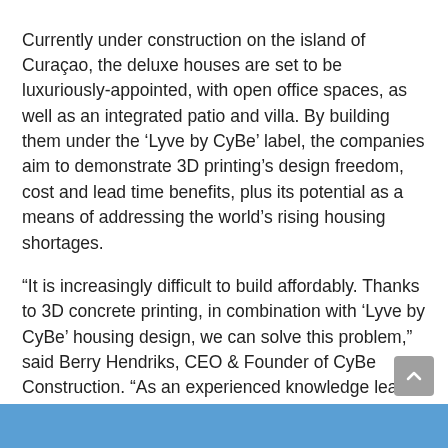Currently under construction on the island of Curaçao, the deluxe houses are set to be luxuriously-appointed, with open office spaces, as well as an integrated patio and villa. By building them under the ‘Lyve by CyBe’ label, the companies aim to demonstrate 3D printing’s design freedom, cost and lead time benefits, plus its potential as a means of addressing the world’s rising housing shortages.
“It is increasingly difficult to build affordably. Thanks to 3D concrete printing, in combination with ‘Lyve by CyBe’ housing design, we can solve this problem,” said Berry Hendriks, CEO & Founder of CyBe Construction. “As an experienced knowledge leader and technology provider with 3D concrete printers in every continent, we have been able to add BiB as a solid and progressive partner for the Caribbean.”
[Figure (photo): Partial view of a photo strip at the bottom of the page, showing what appears to be a construction or building scene in blue tones.]